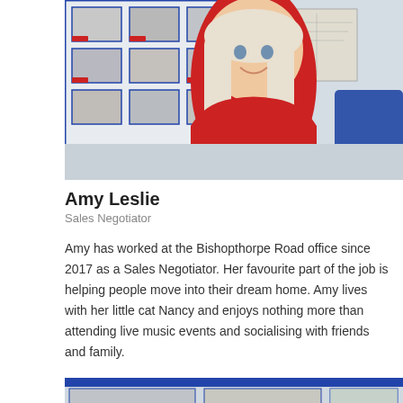[Figure (photo): Woman with platinum blonde hair wearing a red top, smiling at camera. Background shows a property board with house listings.]
Amy Leslie
Sales Negotiator
Amy has worked at the Bishopthorpe Road office since 2017 as a Sales Negotiator. Her favourite part of the job is helping people move into their dream home. Amy lives with her little cat Nancy and enjoys nothing more than attending live music events and socialising with friends and family.
[Figure (photo): Partial view of a property board showing house listing photos including a SOLD sign.]